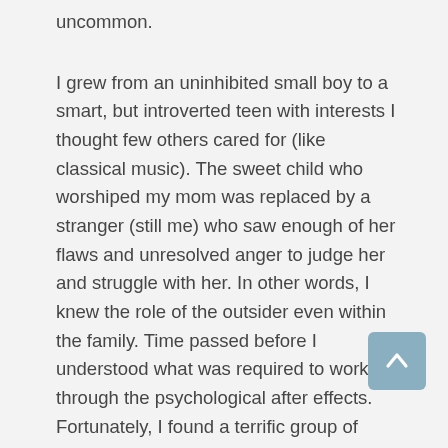uncommon.
I grew from an uninhibited small boy to a smart, but introverted teen with interests I thought few others cared for (like classical music). The sweet child who worshiped my mom was replaced by a stranger (still me) who saw enough of her flaws and unresolved anger to judge her and struggle with her. In other words, I knew the role of the outsider even within the family. Time passed before I understood what was required to work through the psychological after effects. Fortunately, I found a terrific group of high school buddies who reconnected many years after graduation to give college scholarships to disadvantaged teens of varied